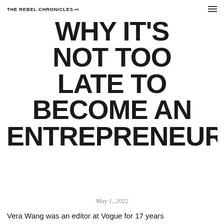THE REBEL CHRONICLES
WHY IT'S NOT TOO LATE TO BECOME AN ENTREPRENEUR
May 1, 2022
Vera Wang was an editor at Vogue for 17 years